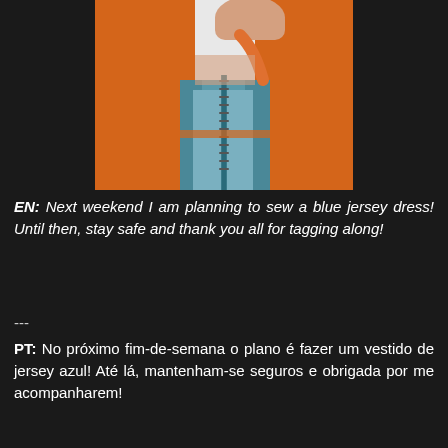[Figure (photo): Close-up photo of hands holding an orange fabric/dress lining open, revealing a colorful blue and teal patterned fabric underneath with a zipper, displayed against a white background.]
EN: Next weekend I am planning to sew a blue jersey dress! Until then, stay safe and thank you all for tagging along!
---
PT: No próximo fim-de-semana o plano é fazer um vestido de jersey azul! Até lá, mantenham-se seguros e obrigada por me acompanharem!